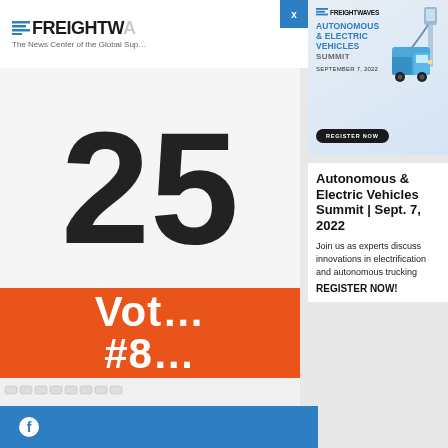[Figure (screenshot): FreightWaves website background with logo header, large number '25', orange vote banner with '#8', keyboard/laptop visible, and blue Facebook footer bar on left side]
[Figure (infographic): FreightWaves Autonomous & Electric Vehicles Summit popup ad banner with logo, title text, date September 7 2022, Register Now button, and illustration of electric truck at charging station]
Autonomous & Electric Vehicles Summit | Sept. 7, 2022
Join us as experts discuss innovations in electrification and autonomous trucking
REGISTER NOW!